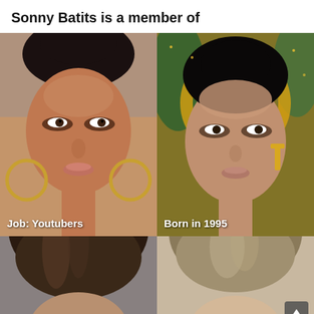Sonny Batits is a member of
[Figure (photo): Close-up photo of a woman with dark hair pulled back, large gold hoop earrings, smokey eye makeup, label reads 'Job: Youtubers']
[Figure (photo): Close-up photo of a woman with dark hair pulled back, gold dangly earrings, against a gold glittery background, label reads 'Born in 1995']
[Figure (photo): Partial photo showing top of a person's head with dark hair, bottom portion of page]
[Figure (photo): Partial photo showing top of a person's head with light/blonde hair, scroll-up button overlaid in bottom right corner, bottom portion of page]